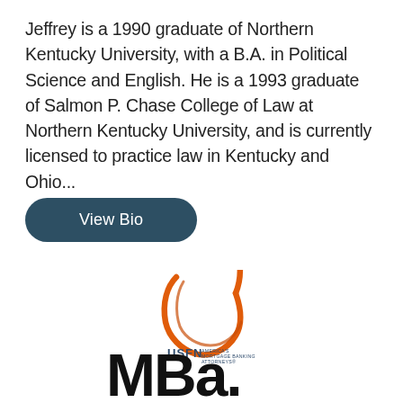Jeffrey is a 1990 graduate of Northern Kentucky University, with a B.A. in Political Science and English. He is a 1993 graduate of Salmon P. Chase College of Law at Northern Kentucky University, and is currently licensed to practice law in Kentucky and Ohio...
View Bio
[Figure (logo): USFN America's Mortgage Banking Attorneys logo — stylized orange cursive U above the text USFN AMERICA'S MORTGAGE BANKING ATTORNEYS]
[Figure (logo): MBA. logo in bold black sans-serif text with a period]